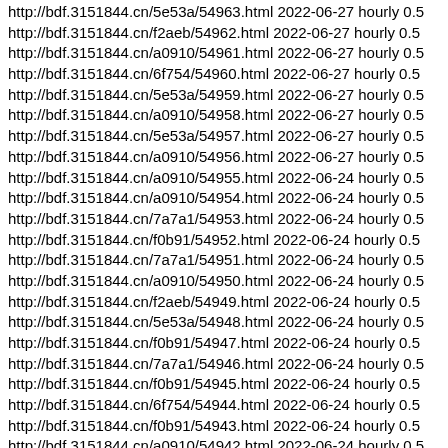http://bdf.3151844.cn/5e53a/54963.html 2022-06-27 hourly 0.5
http://bdf.3151844.cn/f2aeb/54962.html 2022-06-27 hourly 0.5
http://bdf.3151844.cn/a0910/54961.html 2022-06-27 hourly 0.5
http://bdf.3151844.cn/6f754/54960.html 2022-06-27 hourly 0.5
http://bdf.3151844.cn/5e53a/54959.html 2022-06-27 hourly 0.5
http://bdf.3151844.cn/a0910/54958.html 2022-06-27 hourly 0.5
http://bdf.3151844.cn/5e53a/54957.html 2022-06-27 hourly 0.5
http://bdf.3151844.cn/a0910/54956.html 2022-06-27 hourly 0.5
http://bdf.3151844.cn/a0910/54955.html 2022-06-24 hourly 0.5
http://bdf.3151844.cn/a0910/54954.html 2022-06-24 hourly 0.5
http://bdf.3151844.cn/7a7a1/54953.html 2022-06-24 hourly 0.5
http://bdf.3151844.cn/f0b91/54952.html 2022-06-24 hourly 0.5
http://bdf.3151844.cn/7a7a1/54951.html 2022-06-24 hourly 0.5
http://bdf.3151844.cn/a0910/54950.html 2022-06-24 hourly 0.5
http://bdf.3151844.cn/f2aeb/54949.html 2022-06-24 hourly 0.5
http://bdf.3151844.cn/5e53a/54948.html 2022-06-24 hourly 0.5
http://bdf.3151844.cn/f0b91/54947.html 2022-06-24 hourly 0.5
http://bdf.3151844.cn/7a7a1/54946.html 2022-06-24 hourly 0.5
http://bdf.3151844.cn/f0b91/54945.html 2022-06-24 hourly 0.5
http://bdf.3151844.cn/6f754/54944.html 2022-06-24 hourly 0.5
http://bdf.3151844.cn/f0b91/54943.html 2022-06-24 hourly 0.5
http://bdf.3151844.cn/a0910/54942.html 2022-06-24 hourly 0.5
http://bdf.3151844.cn/a0910/54941.html 2022-06-23 hourly 0.5
http://bdf.3151844.cn/5e53a/54940.html 2022-06-23 hourly 0.5
http://bdf.3151844.cn/6f754/54939.html 2022-06-23 hourly 0.5
http://bdf.3151844.cn/f0b91/54938.html 2022-06-23 hourly 0.5